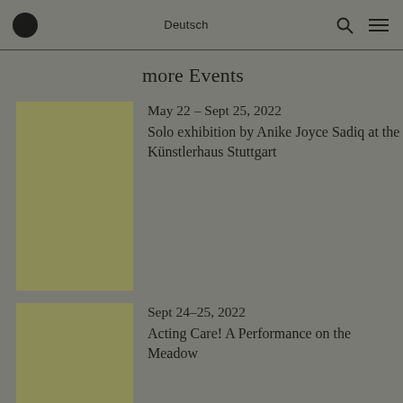Deutsch
more Events
May 22 – Sept 25, 2022
Solo exhibition by Anike Joyce Sadiq at the Künstlerhaus Stuttgart
Sept 24–25, 2022
Acting Care! A Performance on the Meadow
July 2–24, 2022
Exhibitions »Hidden